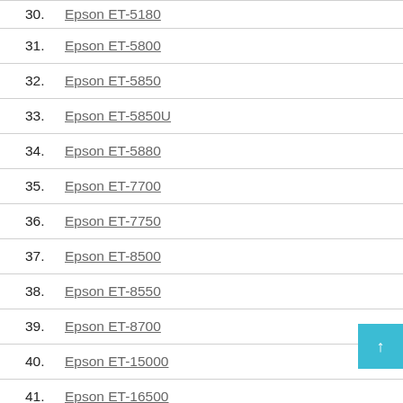30. Epson ET-5180
31. Epson ET-5800
32. Epson ET-5850
33. Epson ET-5850U
34. Epson ET-5880
35. Epson ET-7700
36. Epson ET-7750
37. Epson ET-8500
38. Epson ET-8550
39. Epson ET-8700
40. Epson ET-15000
41. Epson ET-16500
42. Epson ET-16600